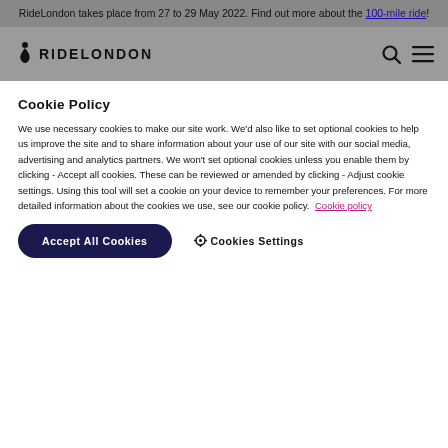RideLondon takes place from 27 to 29 May 2022. Find out more about the 100-mile ride!
[Figure (logo): RideLondon logo with cyclist icon and search/menu icons in navigation bar]
Cookie Policy
We use necessary cookies to make our site work. We'd also like to set optional cookies to help us improve the site and to share information about your use of our site with our social media, advertising and analytics partners. We won't set optional cookies unless you enable them by clicking - Accept all cookies. These can be reviewed or amended by clicking - Adjust cookie settings. Using this tool will set a cookie on your device to remember your preferences. For more detailed information about the cookies we use, see our cookie policy. Cookie policy
Accept All Cookies
Cookies Settings